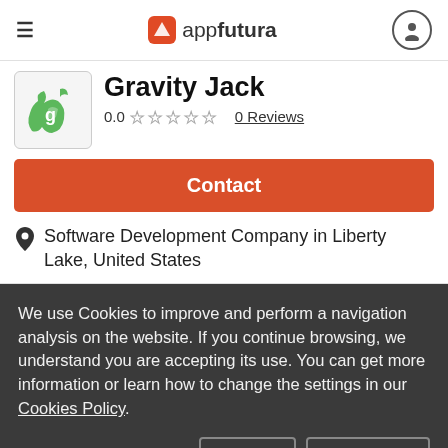appfutura
Gravity Jack
0.0  0 Reviews
Contact
Software Development Company in Liberty Lake, United States
We use Cookies to improve and perform a navigation analysis on the website. If you continue browsing, we understand you are accepting its use. You can get more information or learn how to change the settings in our Cookies Policy.
Agree
More info